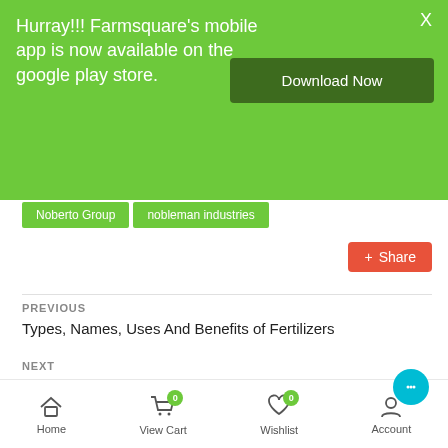Hurray!!! Farmsquare's mobile app is now available on the google play store.
Download Now
X
Noberto Group
nobleman industries
Share
PREVIOUS
Types, Names, Uses And Benefits of Fertilizers
NEXT
Mastercard and Agrolog Want 60,000 Farmers To Increase Ginger Production In Nigeria
Leave a Comment
Home | View Cart (0) | Wishlist (0) | Account